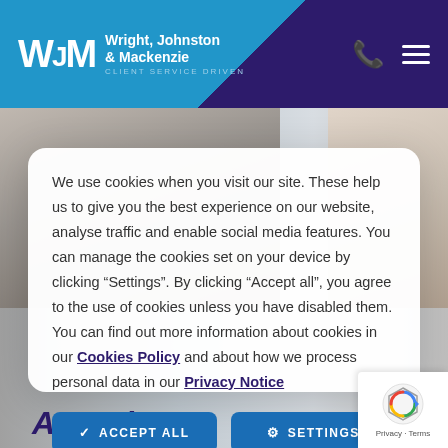[Figure (logo): Wright, Johnston & Mackenzie law firm logo with WJM monogram on blue/purple gradient header, phone icon and hamburger menu]
[Figure (photo): Background photo of two people in office/professional setting, partially visible behind cookie consent modal]
We use cookies when you visit our site. These help us to give you the best experience on our website, analyse traffic and enable social media features. You can manage the cookies set on your device by clicking “Settings”. By clicking “Accept all”, you agree to the use of cookies unless you have disabled them. You can find out more information about cookies in our Cookies Policy and about how we process personal data in our Privacy Notice
✓ ACCEPT ALL
⚙ SETTINGS
Appeals